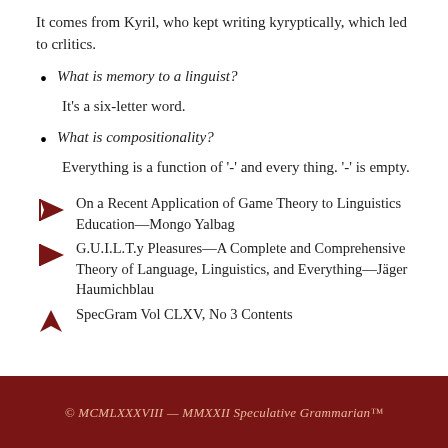It comes from Kyril, who kept writing kyryptically, which led to crlitics.
What is memory to a linguist?
It's a six-letter word.
What is compositionality?
Everything is a function of '-' and every thing. '-' is empty.
On a Recent Application of Game Theory to Linguistics Education—Mongo Yalbag
G.U.I.L.T.y Pleasures—A Complete and Comprehensive Theory of Language, Linguistics, and Everything—Jäger Haumichblau
SpecGram Vol CLXV, No 3 Contents
© MCMLXXXVIII — MMXXII Speculative Grammarian™